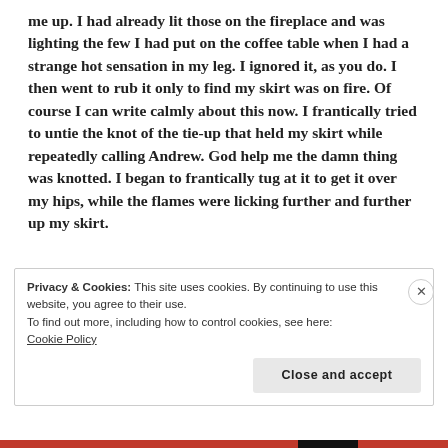me up. I had already lit those on the fireplace and was lighting the few I had put on the coffee table when I had a strange hot sensation in my leg. I ignored it, as you do. I then went to rub it only to find my skirt was on fire. Of course I can write calmly about this now. I frantically tried to untie the knot of the tie-up that held my skirt while repeatedly calling Andrew. God help me the damn thing was knotted. I began to frantically tug at it to get it over my hips, while the flames were licking further and further up my skirt.
Privacy & Cookies: This site uses cookies. By continuing to use this website, you agree to their use.
To find out more, including how to control cookies, see here:
Cookie Policy
Close and accept